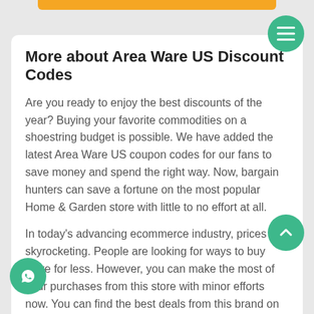More about Area Ware US Discount Codes
Are you ready to enjoy the best discounts of the year? Buying your favorite commodities on a shoestring budget is possible. We have added the latest Area Ware US coupon codes for our fans to save money and spend the right way. Now, bargain hunters can save a fortune on the most popular Home & Garden store with little to no effort at all.
In today's advancing ecommerce industry, prices are skyrocketing. People are looking for ways to buy more for less. However, you can make the most of your purchases from this store with minor efforts now. You can find the best deals from this brand on our website. Thus, you can buy whatever you want without breaking the bank.